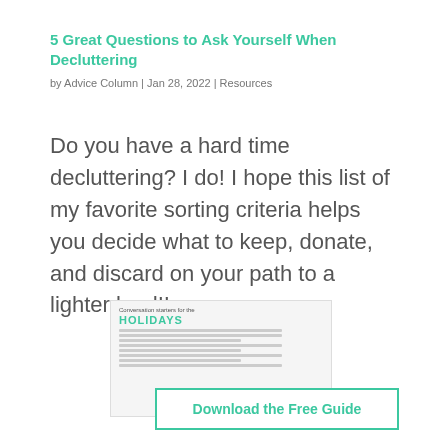5 Great Questions to Ask Yourself When Decluttering
by Advice Column | Jan 28, 2022 | Resources
Do you have a hard time decluttering? I do! I hope this list of my favorite sorting criteria helps you decide what to keep, donate, and discard on your path to a lighter load!!
[Figure (illustration): A holiday conversation starters guide card with green snowflake decorations and a 'Download the Free Guide' button overlay]
Download the Free Guide